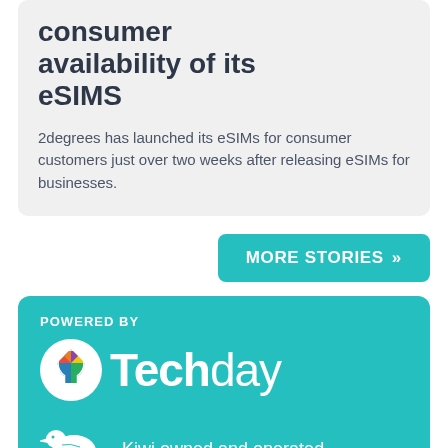consumer availability of its eSIMS
2degrees has launched its eSIMs for consumer customers just over two weeks after releasing eSIMs for businesses.
MORE STORIES »
POWERED BY
[Figure (logo): Techday logo with colourful lightbulb icon and white wordmark on teal background]
Kiwi owned and operated